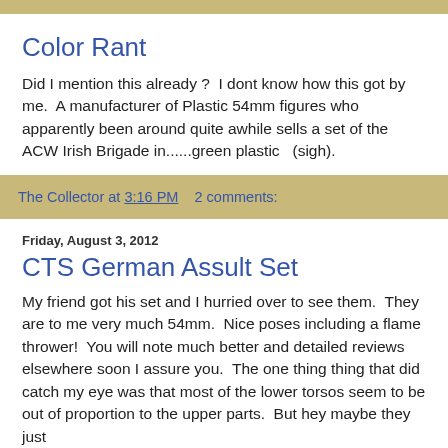Color Rant
Did I mention this already ?  I dont know how this got by me.  A manufacturer of Plastic 54mm figures who apparently been around quite awhile sells a set of the ACW Irish Brigade in......green plastic   (sigh).
The Collector at 3:16 PM   2 comments:
Friday, August 3, 2012
CTS German Assult Set
My friend got his set and I hurried over to see them.  They are to me very much 54mm.  Nice poses including a flame thrower!  You will note much better and detailed reviews elsewhere soon I assure you.  The one thing thing that did catch my eye was that most of the lower torsos seem to be out of proportion to the upper parts.  But hey maybe they just